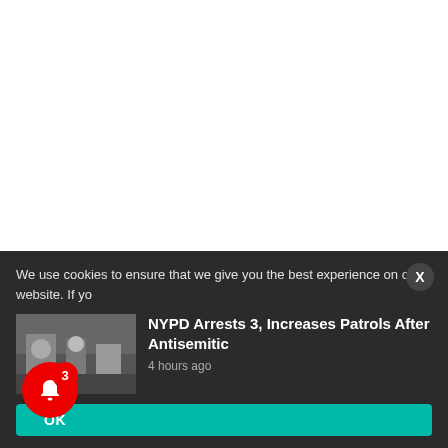[Figure (other): Twitter Follow @JewishPress button with bird icon and 18.2K followers badge]
We use cookies to ensure that we give you the best experience on our website. If yo
[Figure (photo): Thumbnail image of news story about NYPD arrest]
NYPD Arrests 3, Increases Patrols After Antisemitic
4 hours ago
OK